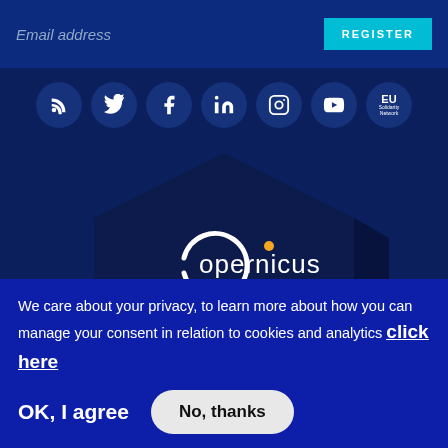Email address
REGISTER
[Figure (other): Social media icons row: RSS feed, Twitter, Facebook, LinkedIn, Instagram, YouTube, EU Solidarity Network — each in a dark blue circle]
[Figure (logo): Copernicus logo on a dark navy hexagonal shape with arrow, text reads: Copernicus Europe's eyes on Earth]
We care about your privacy, to learn more about how you can manage your consent in relation to cookies and analytics click here
OK, I agree
No, thanks